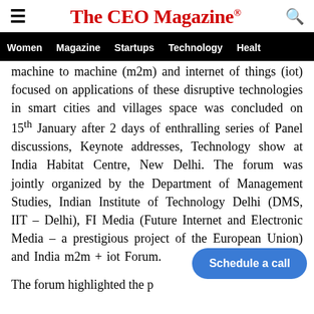The CEO Magazine®
Women | Magazine | Startups | Technology | Healt
machine to machine (m2m) and internet of things (iot) focused on applications of these disruptive technologies in smart cities and villages space was concluded on 15th January after 2 days of enthralling series of Panel discussions, Keynote addresses, Technology show at India Habitat Centre, New Delhi. The forum was jointly organized by the Department of Management Studies, Indian Institute of Technology Delhi (DMS, IIT – Delhi), FI Media (Future Internet and Electronic Media – a prestigious project of the European Union) and India m2m + iot Forum.
The forum highlighted the p
[Figure (other): Schedule a call button (blue rounded rectangle CTA button)]